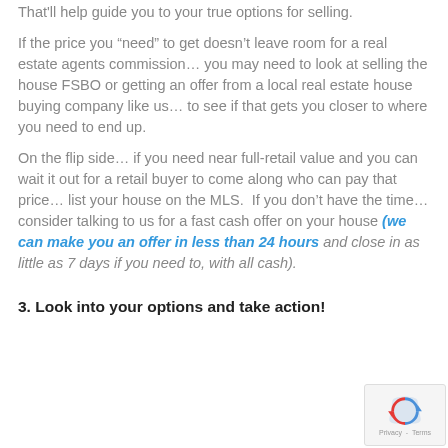That'll help guide you to your true options for selling.
If the price you “need” to get doesn’t leave room for a real estate agents commission… you may need to look at selling the house FSBO or getting an offer from a local real estate house buying company like us… to see if that gets you closer to where you need to end up.
On the flip side… if you need near full-retail value and you can wait it out for a retail buyer to come along who can pay that price… list your house on the MLS.  If you don’t have the time… consider talking to us for a fast cash offer on your house (we can make you an offer in less than 24 hours and close in as little as 7 days if you need to, with all cash).
3. Look into your options and take action!